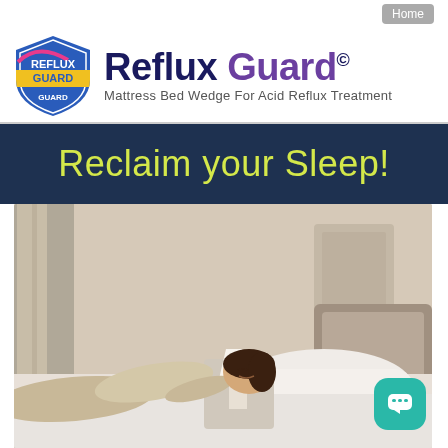Home
[Figure (logo): Reflux Guard logo: shield emblem with 'REFLUX GUARD' text, accompanied by brand name 'Reflux Guard©' and tagline 'Mattress Bed Wedge For Acid Reflux Treatment']
Reclaim your Sleep!
[Figure (photo): Woman sleeping peacefully on a bed with a white wedge pillow/mattress wedge, in a bedroom with curtains, nightstand lamp, and upholstered headboard]